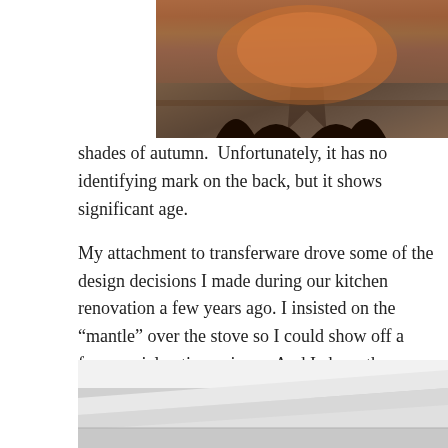[Figure (photo): Ceramic transferware piece with blue and orange/rust floral pattern, sitting on dark legs on a wooden surface]
transferware rocks the orange/rust shades of autumn.  Unfortunately, it has no identifying mark on the back, but it shows significant age.
My attachment to transferware drove some of the design decisions I made during our kitchen renovation a few years ago. I insisted on the “mantle” over the stove so I could show off a few special antique pieces. And I chose the green tile backsplash because it looked so good with the transferware. (Yes, I shopped for tile with a small plate in my pocket!)
[Figure (photo): White decorative mantle or crown molding detail, photographed from below looking up]